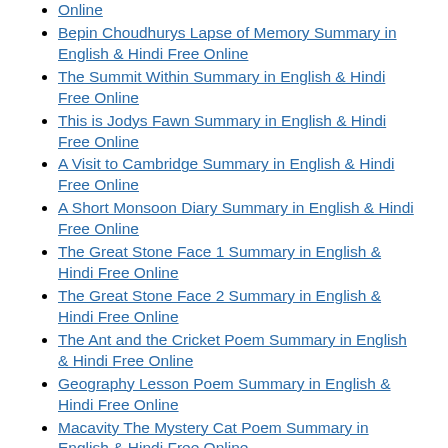Online
Bepin Choudhurys Lapse of Memory Summary in English & Hindi Free Online
The Summit Within Summary in English & Hindi Free Online
This is Jodys Fawn Summary in English & Hindi Free Online
A Visit to Cambridge Summary in English & Hindi Free Online
A Short Monsoon Diary Summary in English & Hindi Free Online
The Great Stone Face 1 Summary in English & Hindi Free Online
The Great Stone Face 2 Summary in English & Hindi Free Online
The Ant and the Cricket Poem Summary in English & Hindi Free Online
Geography Lesson Poem Summary in English & Hindi Free Online
Macavity The Mystery Cat Poem Summary in English & Hindi Free Online
The Last Bargain Poem Summary in English & Hindi Free